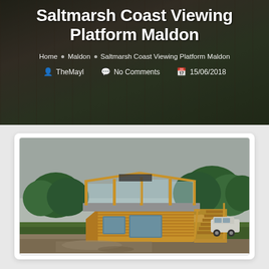Saltmarsh Coast Viewing Platform Maldon
Home • Maldon • Saltmarsh Coast Viewing Platform Maldon
TheMayl   No Comments   15/06/2018
[Figure (photo): Wooden two-storey viewing platform structure with glass railings on the upper deck, a staircase on the right, and a Land Rover visible in the background. Set in a green landscape under a cloudy sky.]